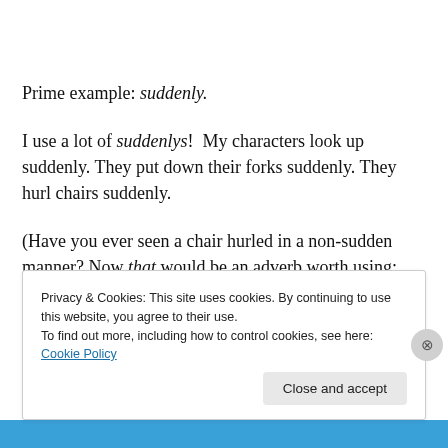Prime example: suddenly.
I use a lot of suddenlys!  My characters look up suddenly. They put down their forks suddenly. They hurl chairs suddenly.
(Have you ever seen a chair hurled in a non-sudden manner? Now that would be an adverb worth using: “He
Privacy & Cookies: This site uses cookies. By continuing to use this website, you agree to their use.
To find out more, including how to control cookies, see here: Cookie Policy